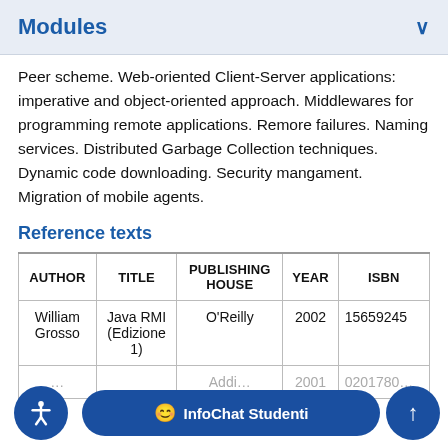Modules
Peer scheme. Web-oriented Client-Server applications: imperative and object-oriented approach. Middlewares for programming remote applications. Remore failures. Naming services. Distributed Garbage Collection techniques. Dynamic code downloading. Security mangament. Migration of mobile agents.
Reference texts
| AUTHOR | TITLE | PUBLISHING HOUSE | YEAR | ISBN |
| --- | --- | --- | --- | --- |
| William Grosso | Java RMI (Edizione 1) | O'Reilly | 2002 | 15659245... |
| ... | ... | Addi... | 2001 | 0201780... |